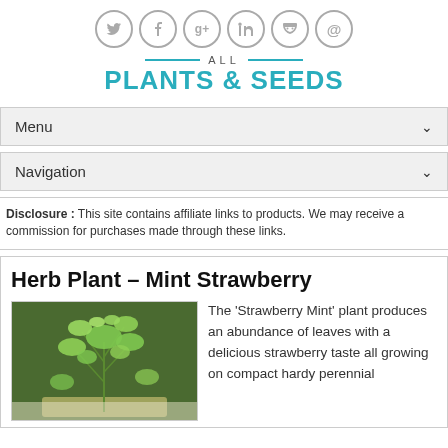[Figure (other): Social media icons row: Twitter, Facebook, Google+, LinkedIn, RSS, Email]
[Figure (logo): All Plants & Seeds logo with teal text and horizontal rules]
Menu
Navigation
Disclosure : This site contains affiliate links to products. We may receive a commission for purchases made through these links.
Herb Plant – Mint Strawberry
[Figure (photo): Photo of Strawberry Mint herb plant with small bright green leaves]
The 'Strawberry Mint' plant produces an abundance of leaves with a delicious strawberry taste all growing on compact hardy perennial